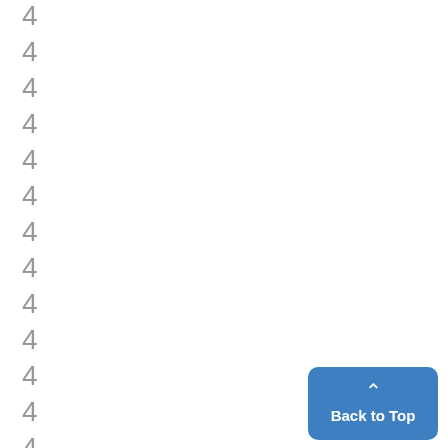4
4
4
4
4
4
4
4
4
4
4
4
4
[Figure (other): Back to Top button with upward chevron arrow, blue rounded rectangle]